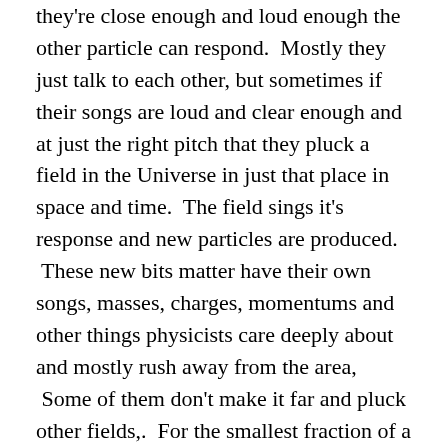they're close enough and loud enough the other particle can respond.  Mostly they just talk to each other, but sometimes if their songs are loud and clear enough and at just the right pitch that they pluck a field in the Universe in just that place in space and time.  The field sings it's response and new particles are produced.  These new bits matter have their own songs, masses, charges, momentums and other things physicists care deeply about and mostly rush away from the area,  Some of them don't make it far and pluck other fields,.  For the smallest fraction of a second a bit of the Universe underneath the